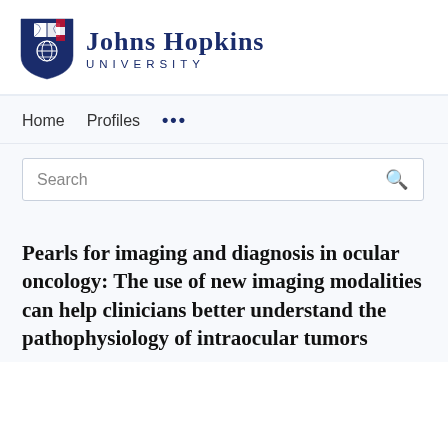[Figure (logo): Johns Hopkins University logo with shield emblem and text]
Home   Profiles   ...
Search
Pearls for imaging and diagnosis in ocular oncology: The use of new imaging modalities can help clinicians better understand the pathophysiology of intraocular tumors